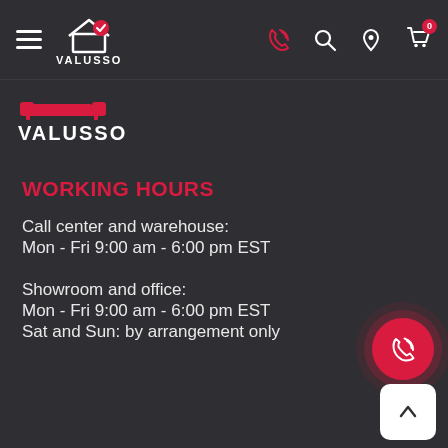VALUSSO — navigation bar with hamburger menu, logo, phone, search, location, and cart icons
VALUSSO
WORKING HOURS
Call center and warehouse:
Mon - Fri 9:00 am - 6:00 pm EST
Showroom and office:
Mon - Fri 9:00 am - 6:00 pm EST
Sat and Sun: by arrangement only